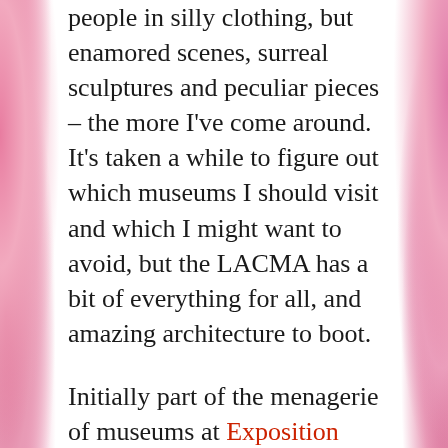people in silly clothing, but enamored scenes, surreal sculptures and peculiar pieces – the more I've come around.  It's taken a while to figure out which museums I should visit and which I might want to avoid, but the LACMA has a bit of everything for all, and amazing architecture to boot.
Initially part of the menagerie of museums at Exposition Park that were established in 1910, the LACMA broke off from the Los Angeles Museum of History, Science and Art in 1961 to give proper focus to the fine arts at a separate location and they opened their doors to the public back in 1965.  Now celebrating over fifty